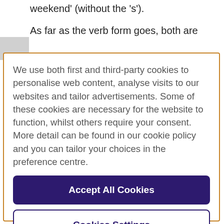weekend' (without the 's').
As far as the verb form goes, both are
We use both first and third-party cookies to personalise web content, analyse visits to our websites and tailor advertisements. Some of these cookies are necessary for the website to function, whilst others require your consent. More detail can be found in our cookie policy and you can tailor your choices in the preference centre.
Accept All Cookies
Cookies Settings